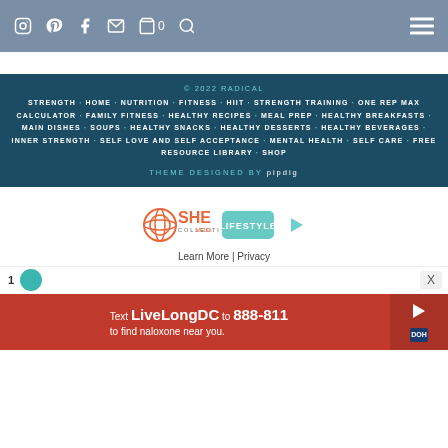Navigation bar with social icons: Instagram, Pinterest, Facebook, Email, Cart (0), Search, and hamburger menu
© 2022 RADICAL STRENGTH · HOME · NUTRITION · FITNESS · HIIT · STRENGTH TRAINING · ONE REP MAX CALCULATOR · FAMILY FITNESS · HEALTHY RECIPES · MEAL PREP · HEALTHY BREAKFASTS · MAIN DISHES · SOUPS · HEALTHY SNACKS · HEALTHY DESSERTS · HEALTHY BEVERAGES · INNER STRENGTH · SELF LOVE AND SELF ACCEPTANCE · MENTAL HEALTH · SELF CARE · FREE RESOURCE LIBRARY · SHOP
THEME DESIGNED BY pipdig
[Figure (logo): SHE Media LIFESTYLE Collective logo with play button icon]
Learn More | Privacy
1
[Figure (photo): Advertisement: Text LiveLongDC to 888-811 to find naloxone near you.]